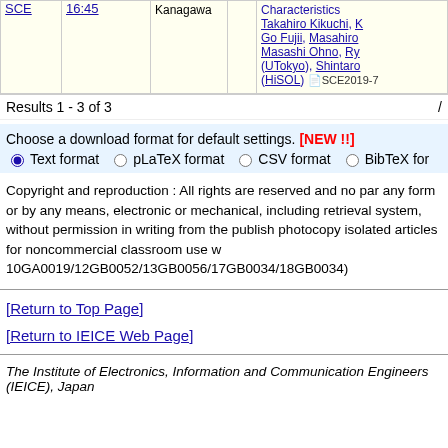|  |  | Kanagawa |  | Characteristics / Authors |
| --- | --- | --- | --- | --- |
| SCE | 16:45 | Kanagawa |  | Takahiro Kikuchi, K, Go Fujii, Masahiro Masashi Ohno, Ry (UTokyo), Shintaro (HiSOL) SCE2019-7 |
Results 1 - 3 of 3  /
Choose a download format for default settings. [NEW !!] Text format  pLaTeX format  CSV format  BibTeX for
Copyright and reproduction : All rights are reserved and no par any form or by any means, electronic or mechanical, including retrieval system, without permission in writing from the publish photocopy isolated articles for noncommercial classroom use w 10GA0019/12GB0052/13GB0056/17GB0034/18GB0034)
[Return to Top Page]
[Return to IEICE Web Page]
The Institute of Electronics, Information and Communication Engineers (IEICE), Japan